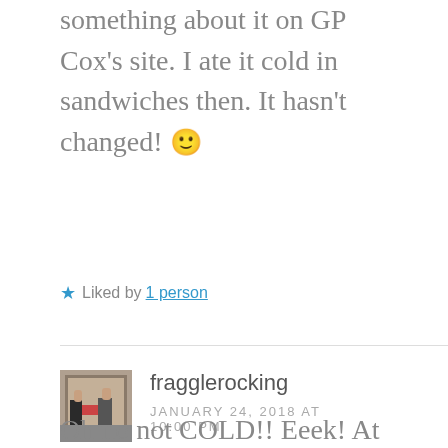something about it on GP Cox's site. I ate it cold in sandwiches then. It hasn't changed! 🙂
★ Liked by 1 person
fragglerocking
JANUARY 24, 2018 AT 10:00 PM
Oh no not COLD!! Eeek! At